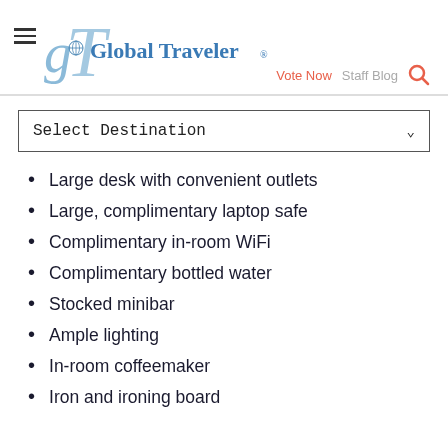[Figure (logo): Global Traveler magazine logo with stylized 'gT' letters in blue and the text 'Global Traveler' in blue serif font]
Vote Now   Staff Blog
Select Destination
Large desk with convenient outlets
Large, complimentary laptop safe
Complimentary in-room WiFi
Complimentary bottled water
Stocked minibar
Ample lighting
In-room coffeemaker
Iron and ironing board